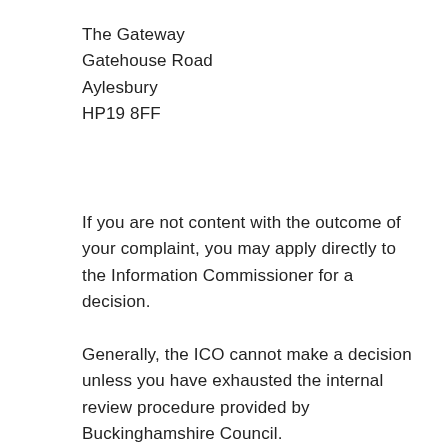The Gateway
Gatehouse Road
Aylesbury
HP19 8FF
If you are not content with the outcome of your complaint, you may apply directly to the Information Commissioner for a decision.
Generally, the ICO cannot make a decision unless you have exhausted the internal review procedure provided by Buckinghamshire Council.